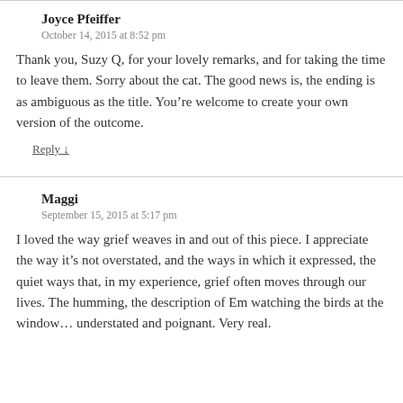Joyce Pfeiffer
October 14, 2015 at 8:52 pm
Thank you, Suzy Q, for your lovely remarks, and for taking the time to leave them. Sorry about the cat. The good news is, the ending is as ambiguous as the title. You’re welcome to create your own version of the outcome.
Reply ↓
Maggi
September 15, 2015 at 5:17 pm
I loved the way grief weaves in and out of this piece. I appreciate the way it’s not overstated, and the ways in which it expressed, the quiet ways that, in my experience, grief often moves through our lives. The humming, the description of Em watching the birds at the window… understated and poignant. Very real.